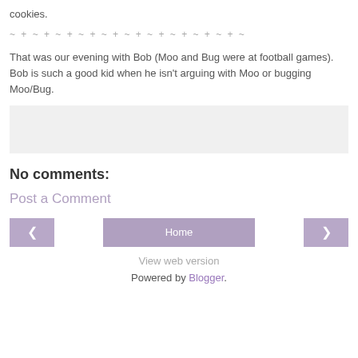cookies.
~ + ~ + ~ + ~ + ~ + ~ + ~ + ~ + ~ + ~ + ~
That was our evening with Bob (Moo and Bug were at football games). Bob is such a good kid when he isn't arguing with Moo or bugging Moo/Bug.
[Figure (other): Gray placeholder box]
No comments:
Post a Comment
< Home >
View web version
Powered by Blogger.